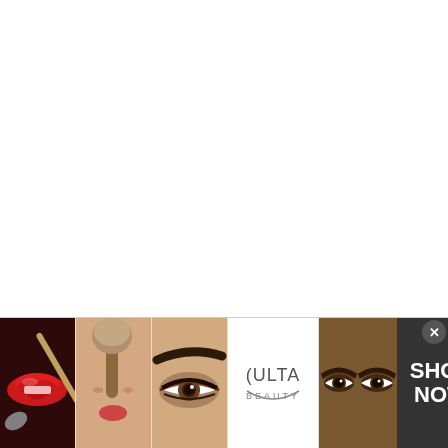Contents [hide]
10+ Cute Simple Hairstyles You Can Do At Home For Short
[Figure (infographic): Bottom banner advertisement showing 5 beauty/makeup images: red lips with makeup brush, woman with powder brush, close-up eye with brows, Ulta Beauty logo on white background, close-up smoky eyes; followed by dark 'SHOP NOW' panel with a close/X button in top right.]